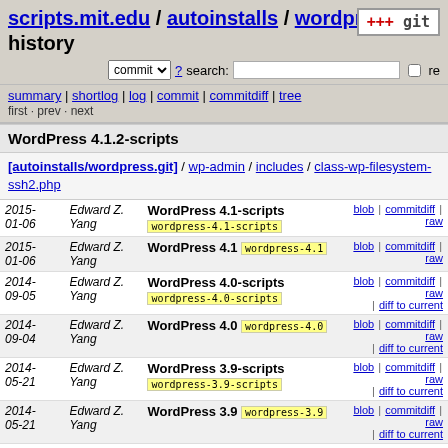scripts.mit.edu / autoinstalls / wordpress.git / history
commit search: re
summary | shortlog | log | commit | commitdiff | tree
first · prev · next
WordPress 4.1.2-scripts
[autoinstalls/wordpress.git] / wp-admin / includes / class-wp-filesystem-ssh2.php
| Date | Author | Commit message | Links |
| --- | --- | --- | --- |
| 2015-01-06 | Edward Z. Yang | WordPress 4.1-scripts  wordpress-4.1-scripts | blob | commitdiff | raw |
| 2015-01-06 | Edward Z. Yang | WordPress 4.1  wordpress-4.1 | blob | commitdiff | raw |
| 2014-09-05 | Edward Z. Yang | WordPress 4.0-scripts  wordpress-4.0-scripts | blob | commitdiff | raw | diff to current |
| 2014-09-04 | Edward Z. Yang | WordPress 4.0  wordpress-4.0 | blob | commitdiff | raw | diff to current |
| 2014-05-21 | Edward Z. Yang | WordPress 3.9-scripts  wordpress-3.9-scripts | blob | commitdiff | raw | diff to current |
| 2014-05-21 | Edward Z. Yang | WordPress 3.9  wordpress-3.9 | blob | commitdiff | raw | diff to current |
| 2013-12-08 | Edward Z. Yang | WordPress 3.7-scripts  wordpress-3.7-scripts | blob | commitdiff | raw | diff to current |